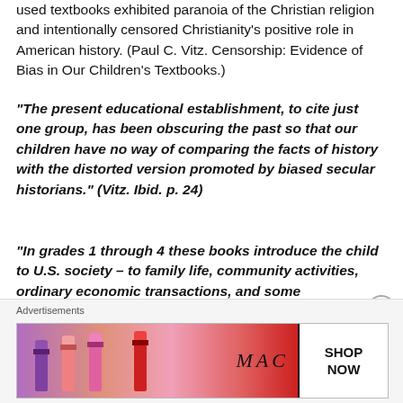used textbooks exhibited paranoia of the Christian religion and intentionally censored Christianity’s positive role in American history. (Paul C. Vitz. Censorship: Evidence of Bias in Our Children’s Textbooks.)
“The present educational establishment, to cite just one group, has been obscuring the past so that our children have no way of comparing the facts of history with the distorted version promoted by biased secular historians.” (Vitz. Ibid. p. 24)
“In grades 1 through 4 these books introduce the child to U.S. society – to family life, community activities, ordinary economic transactions, and some
[Figure (other): Advertisement banner for MAC cosmetics showing lipsticks and a SHOP NOW button]
Advertisements